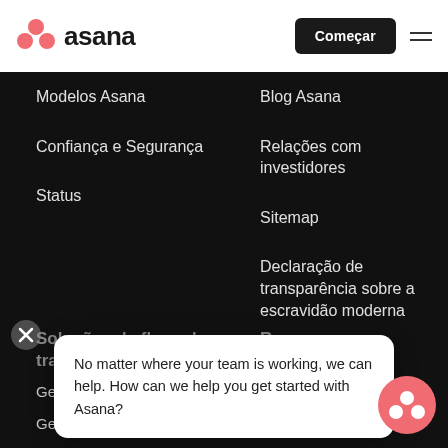asana | Começar
Modelos Asana
Confiança e Segurança
Status
Blog Asana
Relações com investidores
Sitemap
Declaração de transparência sobre a escravidão moderna
Soluções de fluxo de trabalho
Recursos
Gestão de pro…
Gestão de me…
No matter where your team is working, we can help. How can we help you get started with Asana?